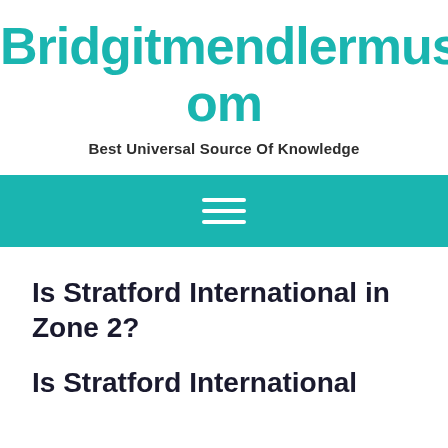Bridgitmendlermusic.Com
Best Universal Source Of Knowledge
[Figure (other): Teal navigation bar with hamburger menu icon (three white horizontal lines)]
Is Stratford International in Zone 2?
Is Stratford International